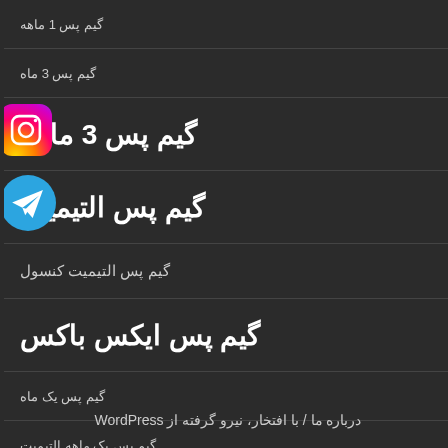گیم پس 1 ماهه
گیم پس 3 ماه
گیم پس 3 ماهه
گیم پس التیمیت
گیم پس التیمیت کنسول
گیم پس ایکس باکس
گیم پس یک ماه
گیم پس یک ماهه التیمیت
درباره ما / با افتخار، نیرو گرفته از WordPress